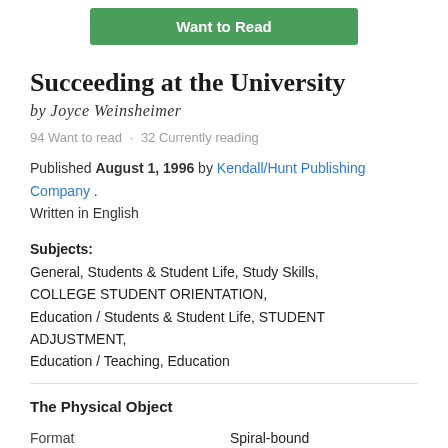Want to Read
Succeeding at the University
by Joyce Weinsheimer
94 Want to read · 32 Currently reading
Published August 1, 1996 by Kendall/Hunt Publishing Company . Written in English
Subjects: General, Students & Student Life, Study Skills, COLLEGE STUDENT ORIENTATION, Education / Students & Student Life, STUDENT ADJUSTMENT, Education / Teaching, Education
The Physical Object
|  |  |
| --- | --- |
| Format | Spiral-bound |
| Number of Pages | 128 |
ID Numbers
|  |  |
| --- | --- |
| Open Library | OL11089915M |